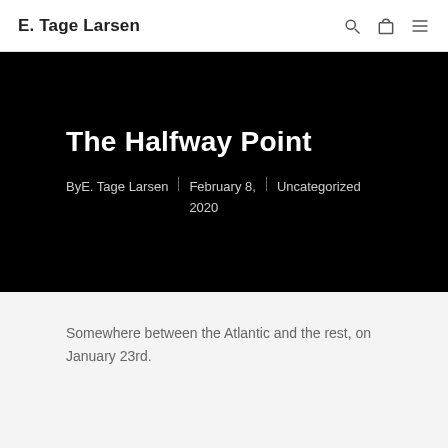E. Tage Larsen
The Halfway Point
By E. Tage Larsen | February 8, 2020 | Uncategorized
Somewhere between the Atlantic and the rest, on January 23rd.